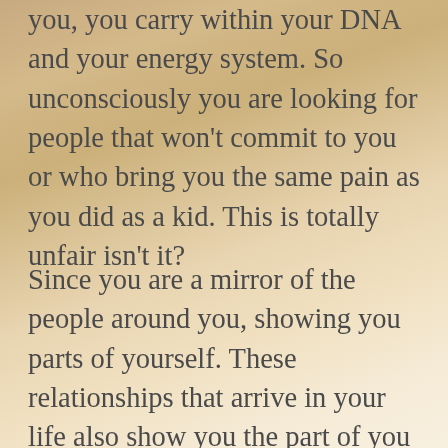you, you carry within your DNA and your energy system. So unconsciously you are looking for people that won't commit to you or who bring you the same pain as you did as a kid. This is totally unfair isn't it?
Since you are a mirror of the people around you, showing you parts of yourself. These relationships that arrive in your life also show you the part of you that is not ready to commit either. You are too afraid to commit and that is why it is certainly not uncommon that you have a fear of intimacy with